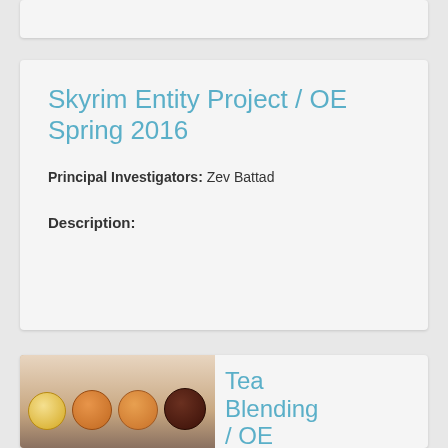Skyrim Entity Project / OE Spring 2016
Principal Investigators: Zev Battad
Description:
[Figure (photo): Four cups of tea shown from above, ranging in color from light yellow to deep dark brown, arranged in a row on a surface with scattered tea leaves]
Tea Blending / OE Spring...